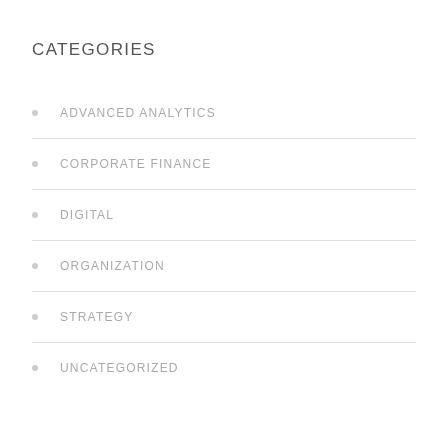CATEGORIES
ADVANCED ANALYTICS
CORPORATE FINANCE
DIGITAL
ORGANIZATION
STRATEGY
UNCATEGORIZED